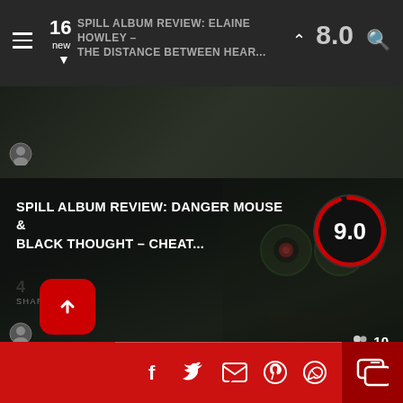16 new | SPILL ALBUM REVIEW: ELAINE HOWLEY – DISTANCE BETWEEN HEAR... | 8.0
[Figure (screenshot): Album review card: SPILL ALBUM REVIEW: DANGER MOUSE & BLACK THOUGHT – CHEAT... scored 9.0, 10 users]
[Figure (screenshot): Album review card: SPILL ALBUM REVIEW: CIAO! – SCARY HAHA scored 8.0, 10 users]
4 SHARES — social share bar with Facebook, Twitter, Email, Pinterest, WhatsApp icons